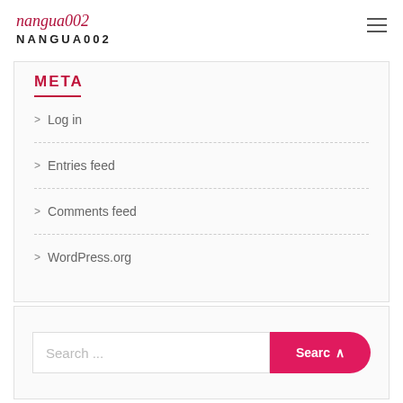nangua002 NANGUA002
META
> Log in
> Entries feed
> Comments feed
> WordPress.org
Search ...